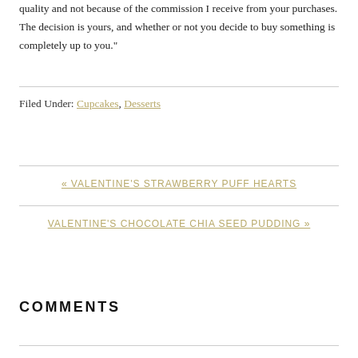quality and not because of the commission I receive from your purchases. The decision is yours, and whether or not you decide to buy something is completely up to you."
Filed Under: Cupcakes, Desserts
« VALENTINE'S STRAWBERRY PUFF HEARTS
VALENTINE'S CHOCOLATE CHIA SEED PUDDING »
COMMENTS